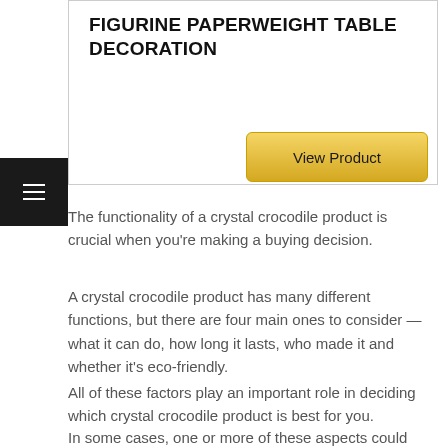FIGURINE PAPERWEIGHT TABLE DECORATION
[Figure (other): View Product button with gold gradient styling]
The functionality of a crystal crocodile product is crucial when you're making a buying decision.
A crystal crocodile product has many different functions, but there are four main ones to consider — what it can do, how long it lasts, who made it and whether it's eco-friendly.
All of these factors play an important role in deciding which crystal crocodile product is best for you.
In some cases, one or more of these aspects could be